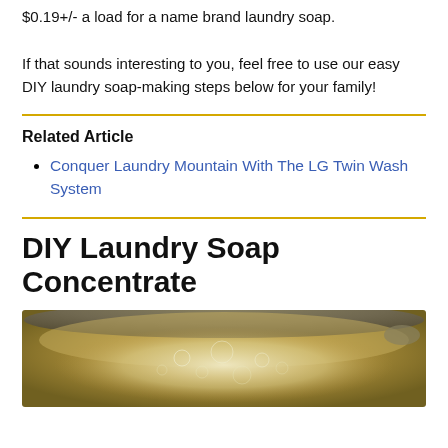$0.19+/- a load for a name brand laundry soap.
If that sounds interesting to you, feel free to use our easy DIY laundry soap-making steps below for your family!
Related Article
Conquer Laundry Mountain With The LG Twin Wash System
DIY Laundry Soap Concentrate
[Figure (photo): Top-down view of a large pot or bowl containing soapy bubbly mixture, likely laundry soap concentrate being made.]